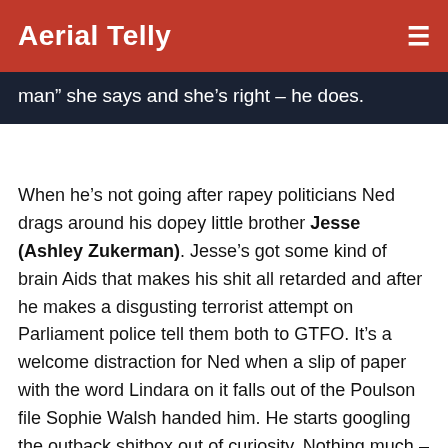Aerial Telly
man” she says and she’s right – he does.
When he’s not going after rapey politicians Ned drags around his dopey little brother Jesse (Ashley Zukerman). Jesse’s got some kind of brain Aids that makes his shit all retarded and after he makes a disgusting terrorist attempt on Parliament police tell them both to GTFO. It’s a welcome distraction for Ned when a slip of paper with the word Lindara on it falls out of the Poulson file Sophie Walsh handed him. He starts googling the outback shitbox out of curiosity. Nothing much – just two abo teens missing. Who could give a fuck about that?
Still, you never know. He phones Alex Wisham just as she discovers Sheyna’s dead body. On Clarence’s phone there’s a video showing Sheyna begging for mercy as some